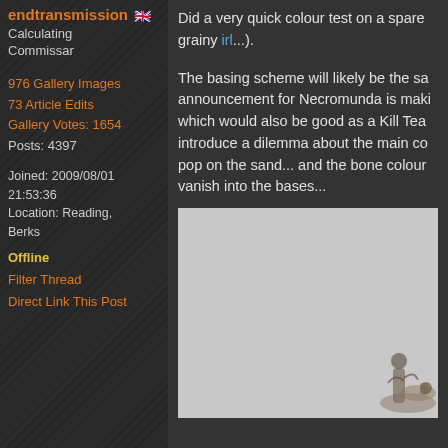endtransmission
Calculating Commissar
976 Gallery Images
73 Article Edits
Gallery Votes: 1654
Posts: 4397
Joined: 2009/08/01 21:53:36
Location: Reading, Berks
Offline
Filter Thread
Direct Link This Post
Did a very quick colour test on a spare grainy irl...).
The basing scheme will likely be the same announcement for Necromunda is making which would also be good as a Kill Team introduce a dilemma about the main colour pop on the sand... and the bone coloured vanish into the bases...
[Figure (photo): Photo of a miniature figure on a light grey background, partially visible]